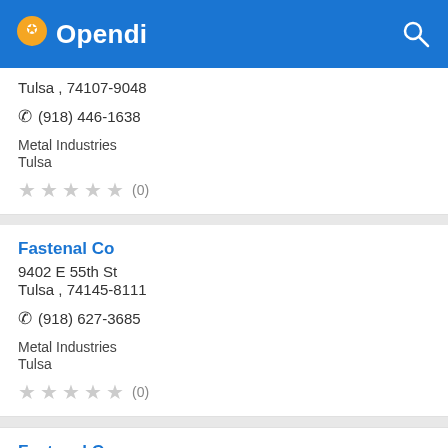Opendi
Tulsa , 74107-9048
☎ (918) 446-1638
Metal Industries
Tulsa
★★★★★ (0)
Fastenal Co
9402 E 55th St
Tulsa , 74145-8111
☎ (918) 627-3685
Metal Industries
Tulsa
★★★★★ (0)
Fastenal Company